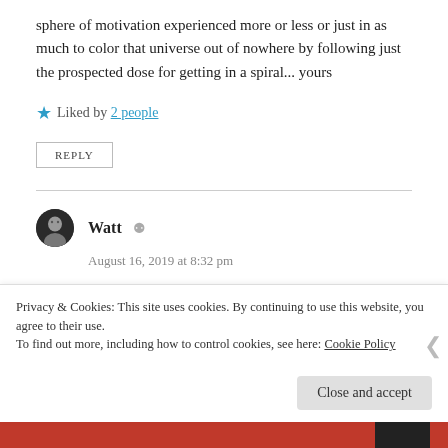sphere of motivation experienced more or less or just in as much to color that universe out of nowhere by following just the prospected dose for getting in a spiral... yours
★ Liked by 2 people
REPLY
Watt
August 16, 2019 at 8:32 pm
A spiral that is mine, and a psychological hellishness bound in psychedelia delays consumption to a point of
Privacy & Cookies: This site uses cookies. By continuing to use this website, you agree to their use. To find out more, including how to control cookies, see here: Cookie Policy
Close and accept